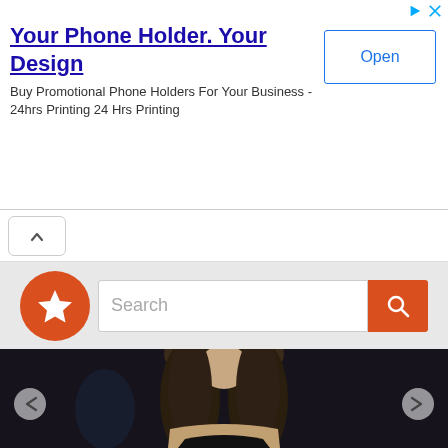[Figure (screenshot): Advertisement banner with ad icons (play and close buttons) in top right, title text 'Your Phone Holder. Your Design', body text 'Buy Promotional Phone Holders For Your Business - 24hrs Printing 24 Hrs Printing', and an 'Open' button on the right.]
[Figure (screenshot): Navigation bar with a back (up chevron) button tab.]
[Figure (screenshot): Search area with orange star logo on left, search input box with placeholder text 'Search', and orange search button with magnifying glass icon.]
[Figure (photo): Photo of a woman with long wavy brown hair wearing a black lace dress, seated in a dark setting. Left and right navigation arrows visible on the sides of the image.]